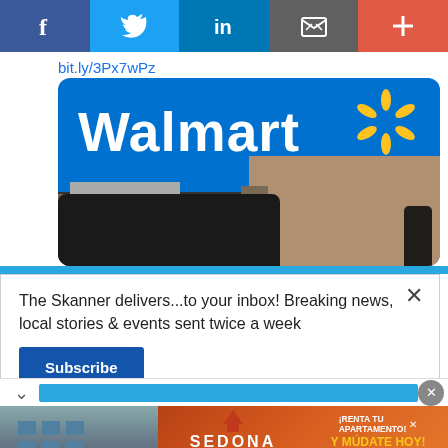[Figure (screenshot): Social media sharing bar with Facebook, Twitter, LinkedIn, email/share icon, and plus button]
bit.ly/3Px7wPz
[Figure (photo): Walmart store exterior showing blue sign with Walmart logo and spark logo, beige/brown building facade, cars in parking lot, person visible on right side]
The Skanner delivers...to your inbox! Breaking news, local stories & events sent twice a week
Subscribe
[Figure (infographic): Advertisement for Sedona Apartments - showing apartment building photo, Sedona Apartments logo with cowboy hat icon, address 14402 Pavilion Point, Houston TX 77083, www.apartments.com, phone 281-568-4596, Spanish text: RENTA TU APARTAMENTO, Y MUDATE HOY, VEN Y VISITANOS, 1 Y 2 RECAMARAS]